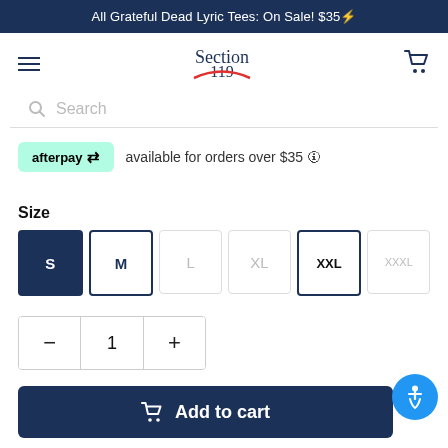All Grateful Dead Lyric Tees: On Sale! $35⚡
[Figure (logo): Section 119 logo with stylized script text and red lightning bolt]
Search
afterpay available for orders over $35 ℹ
Size
Size options: S (selected), M, L, XL, XXL, XXXL
Quantity: 1
Add to cart